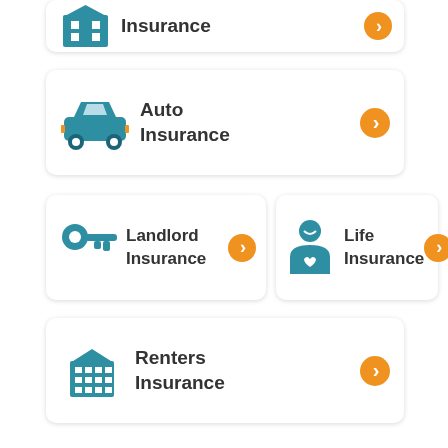[Figure (infographic): Auto Insurance card with car icon and orange arrow button]
[Figure (infographic): Landlord Insurance card with key icon and orange arrow button]
[Figure (infographic): Life Insurance card with person icon and orange arrow button]
[Figure (infographic): Renters Insurance card with building icon and orange arrow button]
About Bloomfield NY:
Bloomfield is a village in Ontario County, New York, United States. The population was 1,361 at the 2010 census. The Village of Bloomfield is in the Town of East